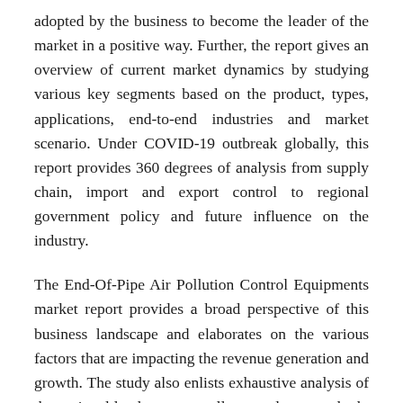adopted by the business to become the leader of the market in a positive way. Further, the report gives an overview of current market dynamics by studying various key segments based on the product, types, applications, end-to-end industries and market scenario. Under COVID-19 outbreak globally, this report provides 360 degrees of analysis from supply chain, import and export control to regional government policy and future influence on the industry.
The End-Of-Pipe Air Pollution Control Equipments market report provides a broad perspective of this business landscape and elaborates on the various factors that are impacting the revenue generation and growth. The study also enlists exhaustive analysis of the regional landscape as well as regulatory outlook. A detailed SWOT analysis alongside market drivers are analyzed and offered in the document.